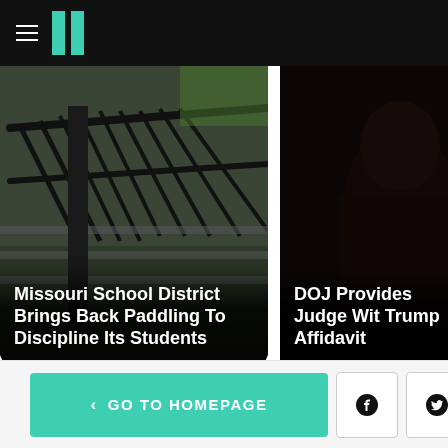HuffPost
[Figure (screenshot): News article card: Missouri school staircase with metal railings outdoors. Overlay text: Missouri School District Brings Back Paddling To Discipline Its Students]
[Figure (screenshot): News article card: Dark silhouette of a person's head. Overlay text: DOJ Provides Judge Wit Trump Affidavit]
[Figure (screenshot): Bottom navigation bar with GO TO HOMEPAGE button and Facebook, Twitter, and close (X) buttons]